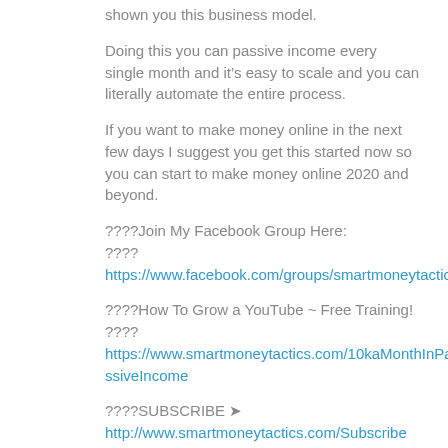shown you this business model.
Doing this you can passive income every single month and it's easy to scale and you can literally automate the entire process.
If you want to make money online in the next few days I suggest you get this started now so you can start to make money online 2020 and beyond.
????Join My Facebook Group Here:
????
https://www.facebook.com/groups/smartmoneytactic
????How To Grow a YouTube ~ Free Training!
????
https://www.smartmoneytactics.com/10kaMonthInPassiveIncome
????SUBSCRIBE ➤
http://www.smartmoneytactics.com/Subscribe